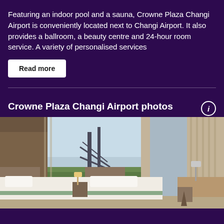Featuring an indoor pool and a sauna, Crowne Plaza Changi Airport is conveniently located next to Changi Airport. It also provides a ballroom, a beauty centre and 24-hour room service. A variety of personalised services
Read more
Crowne Plaza Changi Airport photos
[Figure (photo): Hotel room interior showing two beds with white linens, floor-to-ceiling windows with curtains, a view of a bridge and greenery outside, and a desk with lamp on the right.]